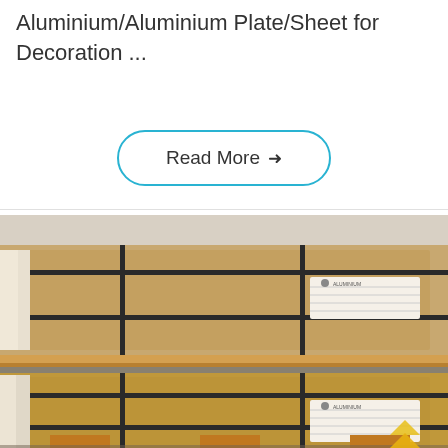Aluminium/Aluminium Plate/Sheet for Decoration ...
Read More →
[Figure (photo): Stacked pallets of aluminium/aluminum plates or sheets wrapped in brown kraft paper and plastic film, secured with black metal strapping bands, with product label stickers visible on the packages, stored in a warehouse.]